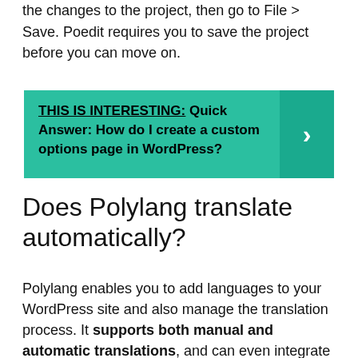the changes to the project, then go to File > Save. Poedit requires you to save the project before you can move on.
THIS IS INTERESTING: Quick Answer: How do I create a custom options page in WordPress?
Does Polylang translate automatically?
Polylang enables you to add languages to your WordPress site and also manage the translation process. It supports both manual and automatic translations, and can even integrate a translation management system in case you want to